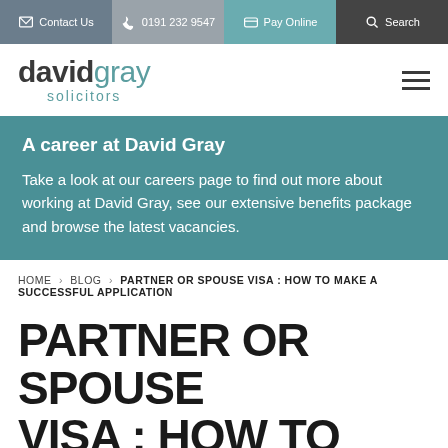Contact Us | 0191 232 9547 | Pay Online | Search
[Figure (logo): David Gray Solicitors logo with hamburger menu]
A career at David Gray
Take a look at our careers page to find out more about working at David Gray, see our extensive benefits package and browse the latest vacancies.
HOME › BLOG › PARTNER OR SPOUSE VISA : HOW TO MAKE A SUCCESSFUL APPLICATION
PARTNER OR SPOUSE VISA : HOW TO